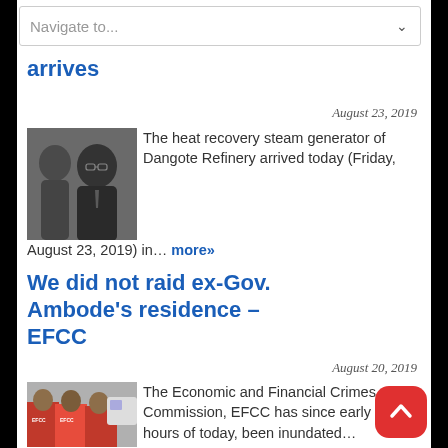Navigate to...
arrives
August 23, 2019
[Figure (photo): Portrait photo of a man in suit with glasses]
The heat recovery steam generator of Dangote Refinery arrived today (Friday, August 23, 2019) in... more»
We did not raid ex-Gov. Ambode's residence – EFCC
August 20, 2019
[Figure (photo): Photo of people in red EFCC uniforms]
The Economic and Financial Crimes Commission, EFCC has since early hours of today, been inundated...